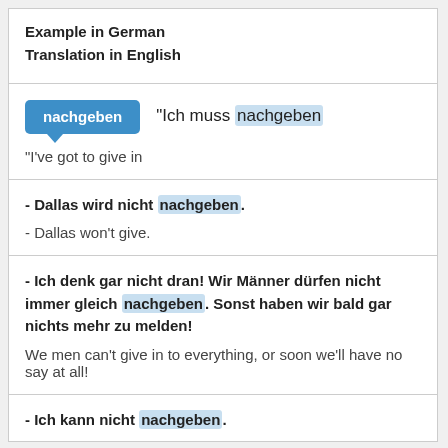Example in German
Translation in English
nachgeben   "Ich muss nachgeben
"I've got to give in
- Dallas wird nicht nachgeben.
- Dallas won't give.
- Ich denk gar nicht dran! Wir Männer dürfen nicht immer gleich nachgeben. Sonst haben wir bald gar nichts mehr zu melden!
We men can't give in to everything, or soon we'll have no say at all!
- Ich kann nicht nachgeben.
- I can't give in. Howard.